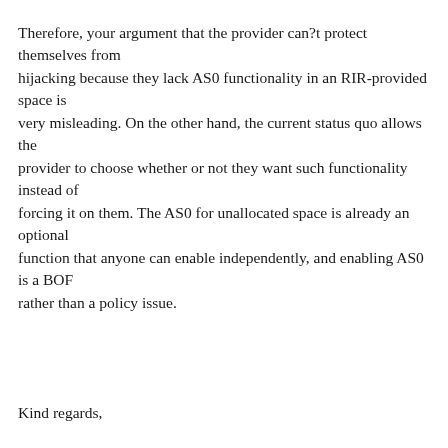Therefore, your argument that the provider can?t protect themselves from hijacking because they lack AS0 functionality in an RIR-provided space is very misleading. On the other hand, the current status quo allows the provider to choose whether or not they want such functionality instead of forcing it on them. The AS0 for unallocated space is already an optional function that anyone can enable independently, and enabling AS0 is a BOF rather than a policy issue.
Kind regards,